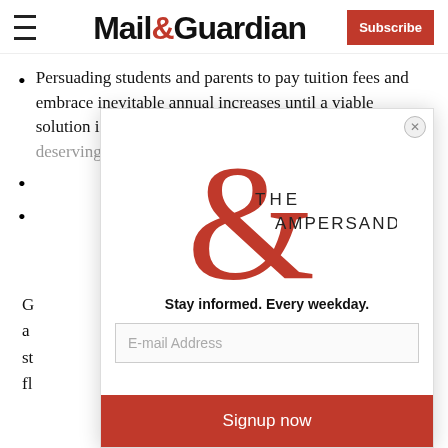Mail&Guardian | Subscribe
Persuading students and parents to pay tuition fees and embrace inevitable annual increases until a viable solution is found for a fee-free regime for academically deserving and needy students;
[partially obscured by modal]
[partially obscured by modal]
G... a... st... fl...
[Figure (logo): The Ampersand logo — a large red ampersand with 'THE AMPERSAND' text, with tagline 'Stay informed. Every weekday.' and email signup form with 'Signup now' button]